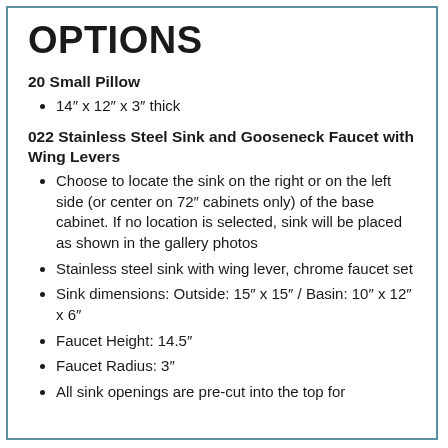OPTIONS
20 Small Pillow
14" x 12" x 3" thick
022 Stainless Steel Sink and Gooseneck Faucet with Wing Levers
Choose to locate the sink on the right or on the left side (or center on 72" cabinets only) of the base cabinet. If no location is selected, sink will be placed as shown in the gallery photos
Stainless steel sink with wing lever, chrome faucet set
Sink dimensions: Outside: 15" x 15" / Basin: 10" x 12" x 6"
Faucet Height: 14.5"
Faucet Radius: 3"
All sink openings are pre-cut into the top for